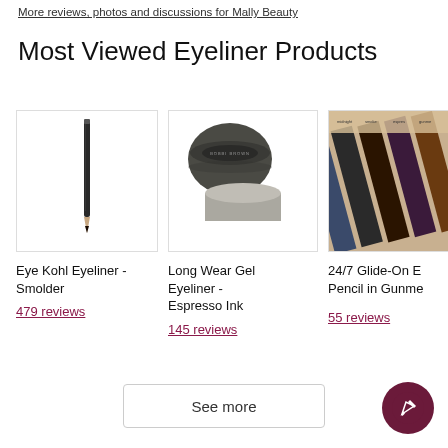More reviews, photos and discussions for Mally Beauty
Most Viewed Eyeliner Products
[Figure (photo): Eye Kohl Eyeliner pencil product photo]
Eye Kohl Eyeliner - Smolder
479 reviews
[Figure (photo): Long Wear Gel Eyeliner Espresso Ink pot product photo]
Long Wear Gel Eyeliner - Espresso Ink
145 reviews
[Figure (photo): 24/7 Glide-On Eye Pencil in Gunmetal swatches photo]
24/7 Glide-On E Pencil in Gunme
55 reviews
See more